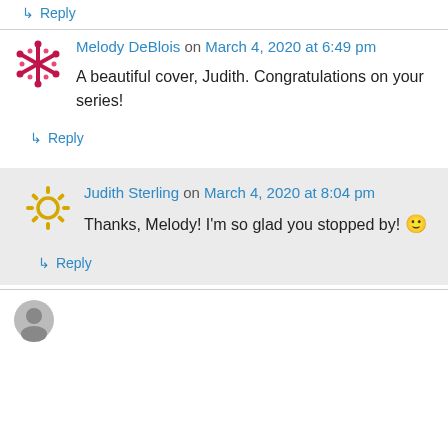↳ Reply
Melody DeBlois on March 4, 2020 at 6:49 pm
A beautiful cover, Judith. Congratulations on your series!
↳ Reply
Judith Sterling on March 4, 2020 at 8:04 pm
Thanks, Melody! I'm so glad you stopped by! 🙂
↳ Reply